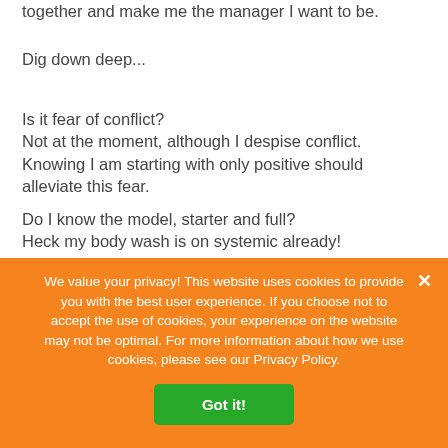together and make me the manager I want to be.
Dig down deep...
Is it fear of conflict?
Not at the moment, although I despise conflict. Knowing I am starting with only positive should alleviate this fear.
Do I know the model, starter and full?
Heck my body wash is on systemic already!
We value your privacy! This website uses cookies to provide you with the best user experience. If you choose not to accept the use of cookies, your experience on the website may not be optimal. For more information about how we use cookies, please see our Privacy Policy.
Got it!